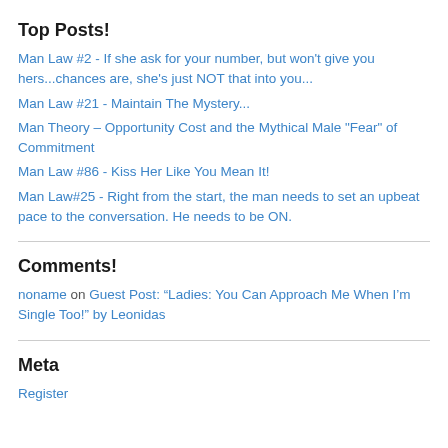Top Posts!
Man Law #2 - If she ask for your number, but won't give you hers...chances are, she's just NOT that into you...
Man Law #21 - Maintain The Mystery...
Man Theory – Opportunity Cost and the Mythical Male "Fear" of Commitment
Man Law #86 - Kiss Her Like You Mean It!
Man Law#25 - Right from the start, the man needs to set an upbeat pace to the conversation. He needs to be ON.
Comments!
noname on Guest Post: “Ladies: You Can Approach Me When I’m Single Too!” by Leonidas
Meta
Register